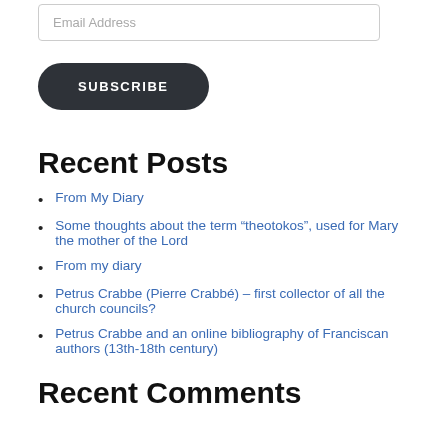Email Address
SUBSCRIBE
Recent Posts
From My Diary
Some thoughts about the term “theotokos”, used for Mary the mother of the Lord
From my diary
Petrus Crabbe (Pierre Crabbé) – first collector of all the church councils?
Petrus Crabbe and an online bibliography of Franciscan authors (13th-18th century)
Recent Comments